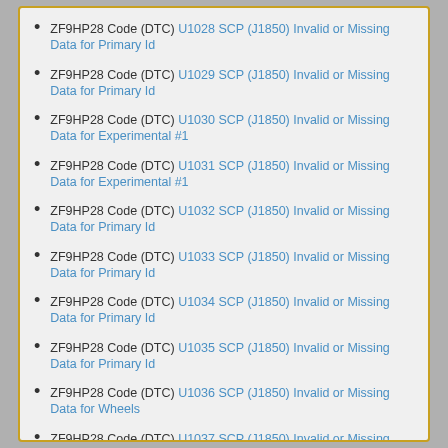ZF9HP28 Code (DTC) U1028 SCP (J1850) Invalid or Missing Data for Primary Id
ZF9HP28 Code (DTC) U1029 SCP (J1850) Invalid or Missing Data for Primary Id
ZF9HP28 Code (DTC) U1030 SCP (J1850) Invalid or Missing Data for Experimental #1
ZF9HP28 Code (DTC) U1031 SCP (J1850) Invalid or Missing Data for Experimental #1
ZF9HP28 Code (DTC) U1032 SCP (J1850) Invalid or Missing Data for Primary Id
ZF9HP28 Code (DTC) U1033 SCP (J1850) Invalid or Missing Data for Primary Id
ZF9HP28 Code (DTC) U1034 SCP (J1850) Invalid or Missing Data for Primary Id
ZF9HP28 Code (DTC) U1035 SCP (J1850) Invalid or Missing Data for Primary Id
ZF9HP28 Code (DTC) U1036 SCP (J1850) Invalid or Missing Data for Wheels
ZF9HP28 Code (DTC) U1037 SCP (J1850) Invalid or Missing Data for Wheels
ZF9HP28 Code (DTC) U1038 SCP (J1850) Invalid or Missing Data for Primary Id